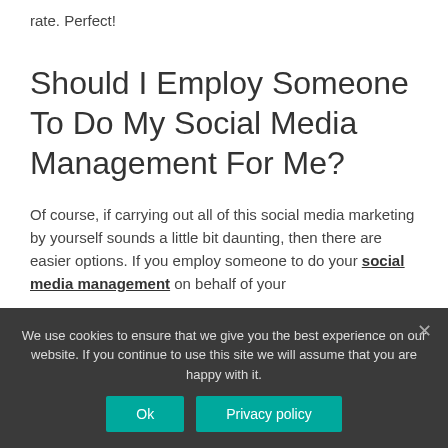rate. Perfect!
Should I Employ Someone To Do My Social Media Management For Me?
Of course, if carrying out all of this social media marketing by yourself sounds a little bit daunting, then there are easier options. If you employ someone to do your social media management on behalf of your business, they will for...
We use cookies to ensure that we give you the best experience on our website. If you continue to use this site we will assume that you are happy with it.